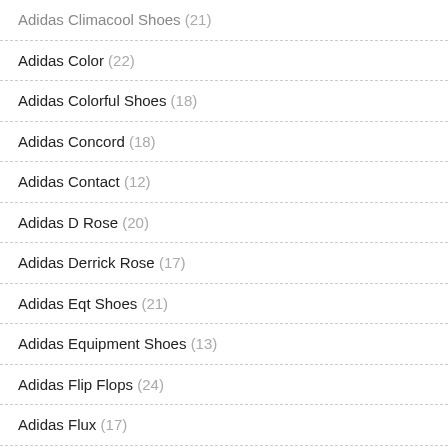Adidas Climacool Shoes (21)
Adidas Color (22)
Adidas Colorful Shoes (18)
Adidas Concord (18)
Adidas Contact (12)
Adidas D Rose (20)
Adidas Derrick Rose (17)
Adidas Eqt Shoes (21)
Adidas Equipment Shoes (13)
Adidas Flip Flops (24)
Adidas Flux (17)
Adidas Football Cleats Customize (3)
Adidas Forum (19)
Adidas Forum Low (15)
Adidas Forum Mid (19)
Adidas Gazelle Pink (17)
Sold: 4281
★★★★★ (945)  ♥like ★★
[Figure (photo): White Adidas sneaker shoe on white background]
all white adidas shoes
$132.26  $64.94
Sold: 3983
★★★★★ (945)  ♥like ★★